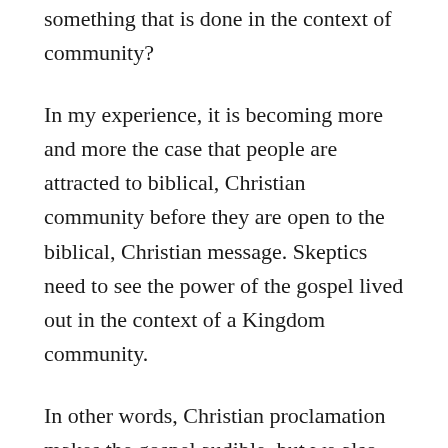something that is done in the context of community?
In my experience, it is becoming more and more the case that people are attracted to biblical, Christian community before they are open to the biblical, Christian message. Skeptics need to see the power of the gospel lived out in the context of a Kingdom community.
In other words, Christian proclamation makes the gospel audible, but we also need a